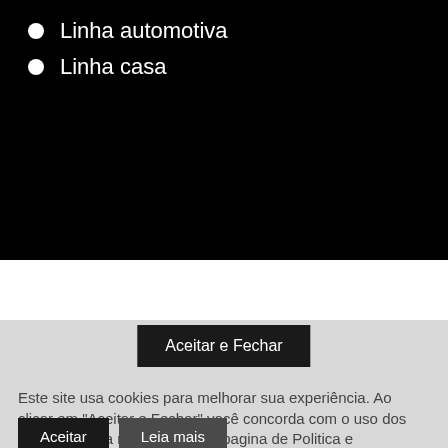Linha automotiva
Linha casa
Aceitar e Fechar
Este site usa cookies para melhorar sua experiência. Ao clicar em "Aceitar e Fechar" você concorda com o uso dos cookies, saiba mais em nossa pagina de Politica e Privacidade.
Aceitar
Leia mais